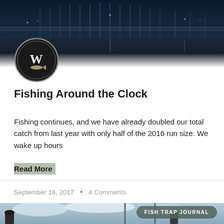[Figure (photo): Dark nighttime photo of a bridge over water with city lights reflecting]
[Figure (logo): Circular logo with dark background featuring a fish/letter W emblem]
Fishing Around the Clock
Fishing continues, and we have already doubled our total catch from last year with only half of the 2016 run size. We wake up hours
Read More
September 18, 2017  •  4 Comments
[Figure (photo): Two people outdoors near water with cloudy sky, FISH TRAP JOURNAL badge overlay]